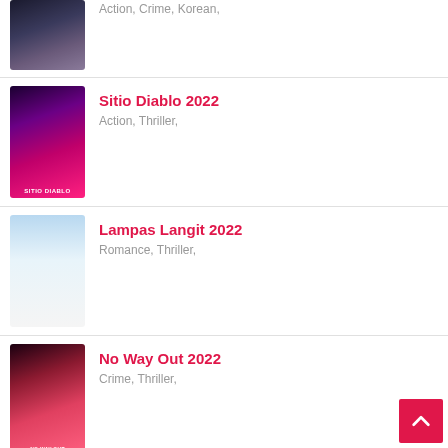[Figure (photo): Partial movie poster for an Action/Crime/Korean film, partially cropped at top]
Action, Crime, Korean,
[Figure (photo): Movie poster for Sitio Diablo 2022 - dark purple/pink tones with figures]
Sitio Diablo 2022
Action, Thriller,
[Figure (photo): Movie poster for Lampas Langit 2022 - light blue tones]
Lampas Langit 2022
Romance, Thriller,
[Figure (photo): Movie poster for No Way Out 2022 - red/pink tones]
No Way Out 2022
Crime, Thriller,
[Figure (photo): Movie poster for Fall 2022 - blue sky tones]
Fall 2022
Thriller,